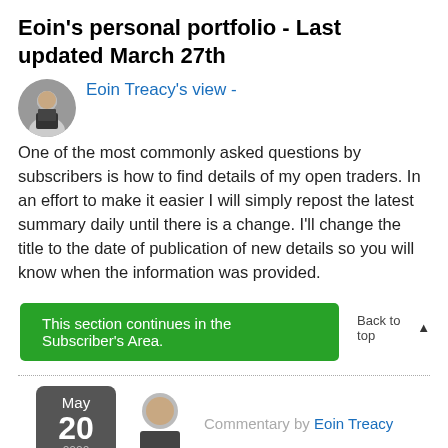Eoin's personal portfolio - Last updated March 27th
Eoin Treacy's view - One of the most commonly asked questions by subscribers is how to find details of my open traders. In an effort to make it easier I will simply repost the latest summary daily until there is a change. I'll change the title to the date of publication of new details so you will know when the information was provided.
This section continues in the Subscriber's Area.
Back to top
Commentary by Eoin Treacy